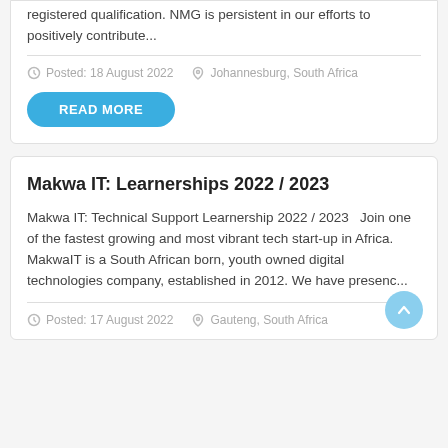registered qualification. NMG is persistent in our efforts to positively contribute...
Posted: 18 August 2022   Johannesburg, South Africa
READ MORE
Makwa IT: Learnerships 2022 / 2023
Makwa IT: Technical Support Learnership 2022 / 2023   Join one of the fastest growing and most vibrant tech start-up in Africa. MakwaIT is a South African born, youth owned digital technologies company, established in 2012. We have presenc...
Posted: 17 August 2022   Gauteng, South Africa